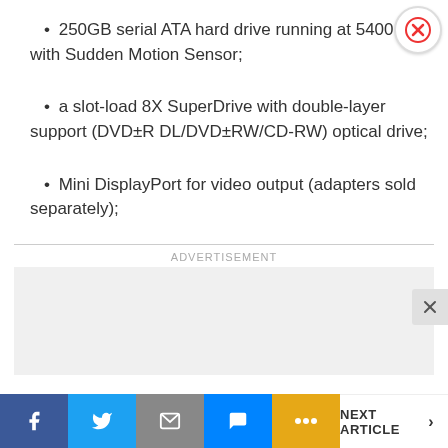250GB serial ATA hard drive running at 5400 rpm, with Sudden Motion Sensor;
a slot-load 8X SuperDrive with double-layer support (DVD±R DL/DVD±RW/CD-RW) optical drive;
Mini DisplayPort for video output (adapters sold separately);
ADVERTISEMENT
[Figure (other): Advertisement placeholder box (gray rectangle)]
Facebook | Twitter | Email | Messenger | More | NEXT ARTICLE >